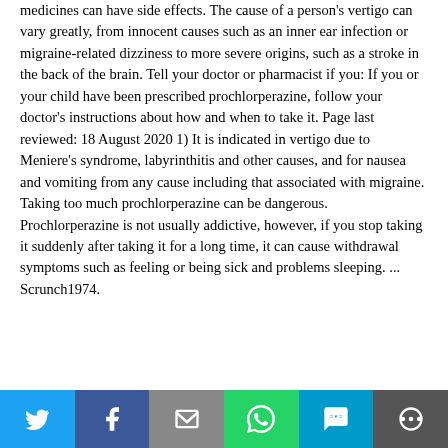medicines can have side effects. The cause of a person's vertigo can vary greatly, from innocent causes such as an inner ear infection or migraine-related dizziness to more severe origins, such as a stroke in the back of the brain. Tell your doctor or pharmacist if you: If you or your child have been prescribed prochlorperazine, follow your doctor's instructions about how and when to take it. Page last reviewed: 18 August 2020 1) It is indicated in vertigo due to Meniere's syndrome, labyrinthitis and other causes, and for nausea and vomiting from any cause including that associated with migraine. Taking too much prochlorperazine can be dangerous. Prochlorperazine is not usually addictive, however, if you stop taking it suddenly after taking it for a long time, it can cause withdrawal symptoms such as feeling or being sick and problems sleeping. ... Scrunch1974. Prochlorperazine for Nausea from migraine. 17 ...
[Figure (other): Social share bar with Twitter, Facebook, Email, WhatsApp, SMS, and More buttons]